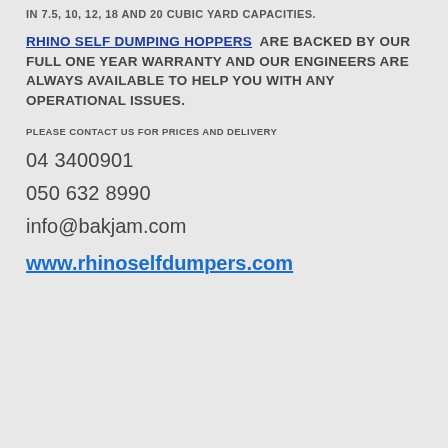IN 7.5, 10, 12, 18 AND 20 CUBIC YARD CAPACITIES.
RHINO SELF DUMPING HOPPERS ARE BACKED BY OUR FULL ONE YEAR WARRANTY AND OUR ENGINEERS ARE ALWAYS AVAILABLE TO HELP YOU WITH ANY OPERATIONAL ISSUES.
PLEASE CONTACT US FOR PRICES AND DELIVERY
04 3400901
050 632 8990
info@bakjam.com
www.rhinoselfdumpers.com